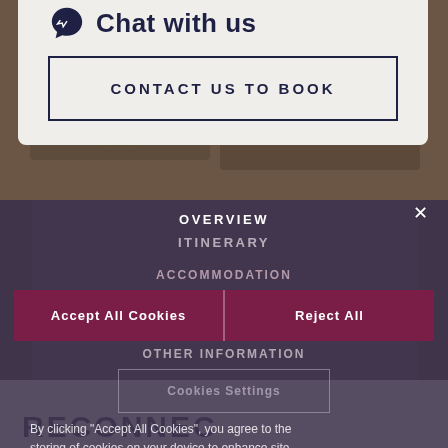Chat with us
CONTACT US TO BOOK
OVERVIEW
ITINERARY
By clicking "Accept All Cookies", you agree to the storing of cookies on your device to enhance site navigation, analyze site usage, and assist in our marketing efforts.
ACCOMMODATION
Accept All Cookies
Reject All
OTHER INFORMATION
Cookies Settings
RECONNECT